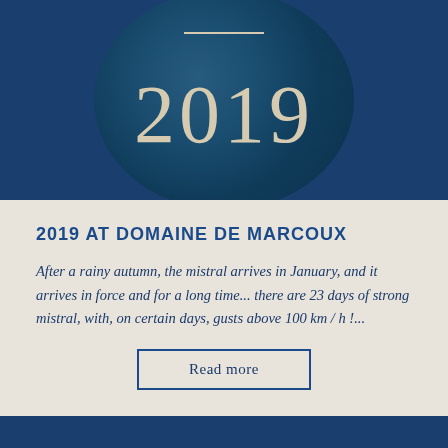[Figure (illustration): Dark blue banner with large year number 2019 and a decorative globe/circular motif in the background, with a horizontal divider line above the number]
2019 AT DOMAINE DE MARCOUX
After a rainy autumn, the mistral arrives in January, and it arrives in force and for a long time... there are 23 days of strong mistral, with, on certain days, gusts above 100 km / h !...
Read more